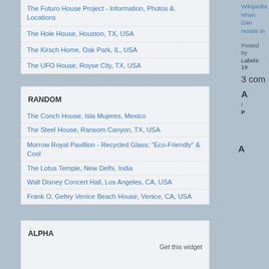The Futuro House Project - Information, Photos & Locations
The Hole House, Houston, TX, USA
The Kirsch Home, Oak Park, IL, USA
The UFO House, Royse City, TX, USA
RANDOM
The Conch House, Isla Mujeres, Mexico
The Steel House, Ransom Canyon, TX, USA
Morrow Royal Pavillion - Recycled Glass; "Eco-Friendly" & Cool
The Lotus Temple, New Delhi, India
Walt Disney Concert Hall, Los Angeles, CA, USA
Frank O. Gehry Venice Beach House, Venice, CA, USA
ALPHA
Get this widget
Wikipedia
Nhan Dan
Hotels In
Posted by
Labels: 19
3 com
A
i
P